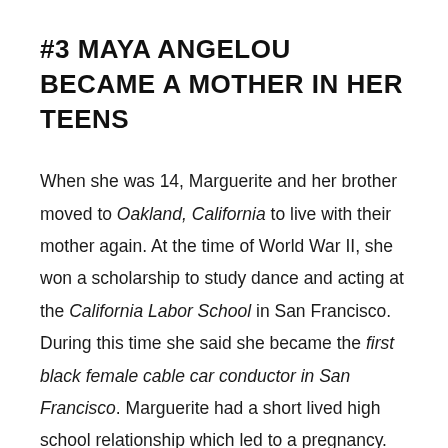#3 MAYA ANGELOU BECAME A MOTHER IN HER TEENS
When she was 14, Marguerite and her brother moved to Oakland, California to live with their mother again. At the time of World War II, she won a scholarship to study dance and acting at the California Labor School in San Francisco. During this time she said she became the first black female cable car conductor in San Francisco. Marguerite had a short lived high school relationship which led to a pregnancy. Three weeks after completing